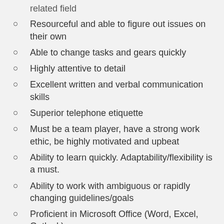related field
Resourceful and able to figure out issues on their own
Able to change tasks and gears quickly
Highly attentive to detail
Excellent written and verbal communication skills
Superior telephone etiquette
Must be a team player, have a strong work ethic, be highly motivated and upbeat
Ability to learn quickly. Adaptability/flexibility is a must.
Ability to work with ambiguous or rapidly changing guidelines/goals
Proficient in Microsoft Office (Word, Excel, Outlook)
Proficient in using LinkedIn + Navigator, for